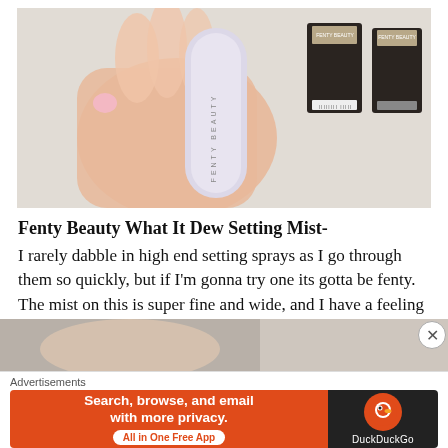[Figure (photo): A hand holding a Fenty Beauty setting mist bottle in lavender/white, with two Fenty Beauty product boxes in dark packaging visible in the background, all resting on a white fabric surface.]
Fenty Beauty What It Dew Setting Mist-
I rarely dabble in high end setting sprays as I go through them so quickly, but if I'm gonna try one its gotta be fenty. The mist on this is super fine and wide, and I have a feeling it's going to give the Rimmel insta fix'n'glow a run for its money.
[Figure (photo): Partial bottom images from the article, two side-by-side cropped photos partially visible at bottom of page.]
Advertisements
[Figure (other): DuckDuckGo advertisement banner: orange left panel with text 'Search, browse, and email with more privacy. All in One Free App' and dark right panel with DuckDuckGo logo and name.]